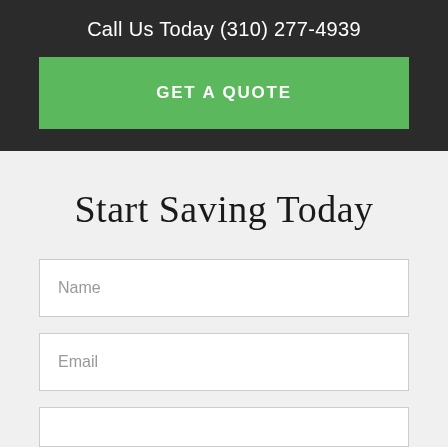Call Us Today (310) 277-4939
GET A QUOTE
Start Saving Today
Name
Email